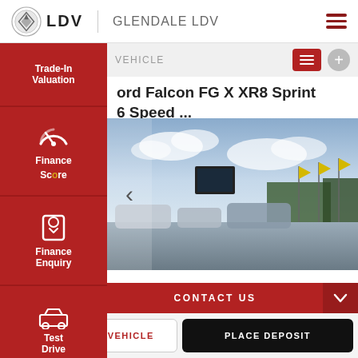[Figure (logo): LDV brand logo with circular emblem and text 'LDV', alongside 'GLENDALE LDV' dealership name and hamburger menu icon]
Trade-In Valuation
[Figure (logo): Finance Score sidebar item with speedometer icon]
Finance Enquiry
Test Drive
VEHICLE
ord Falcon FG X XR8 Sprint 6 Speed ...
[Figure (photo): Car dealership lot with cars, yellow promotional flags, trees in background under a partly cloudy sky]
CONTACT US
FINANCE THIS VEHICLE
PLACE DEPOSIT